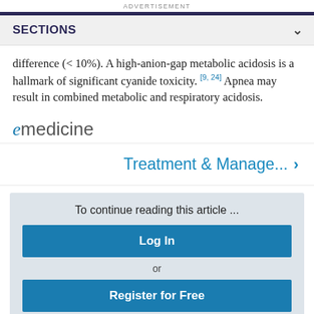ADVERTISEMENT
SECTIONS
difference (< 10%). A high-anion-gap metabolic acidosis is a hallmark of significant cyanide toxicity. [9, 24] Apnea may result in combined metabolic and respiratory acidosis.
[Figure (logo): eMedicine logo with stylized italic 'e' in blue followed by 'medicine' in gray]
Treatment & Manage... >
To continue reading this article ...
Log In
or
Register for Free